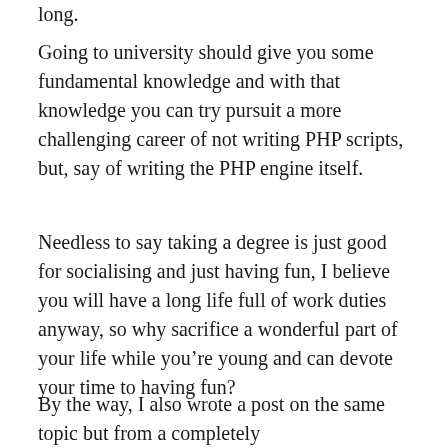long.
Going to university should give you some fundamental knowledge and with that knowledge you can try pursuit a more challenging career of not writing PHP scripts, but, say of writing the PHP engine itself.
Needless to say taking a degree is just good for socialising and just having fun, I believe you will have a long life full of work duties anyway, so why sacrifice a wonderful part of your life while you're young and can devote your time to having fun?
By the way, I also wrote a post on the same topic but from a completely